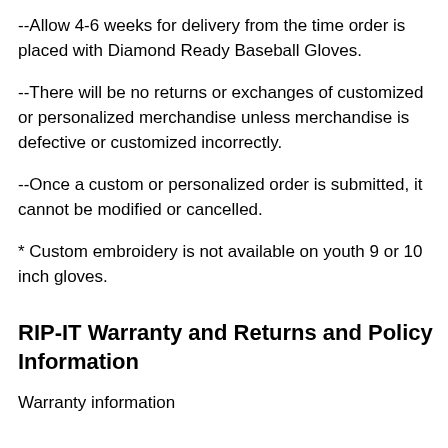--Allow 4-6 weeks for delivery from the time order is placed with Diamond Ready Baseball Gloves.
--There will be no returns or exchanges of customized or personalized merchandise unless merchandise is defective or customized incorrectly.
--Once a custom or personalized order is submitted, it cannot be modified or cancelled.
* Custom embroidery is not available on youth 9 or 10 inch gloves.
RIP-IT Warranty and Returns and Policy Information
Warranty information